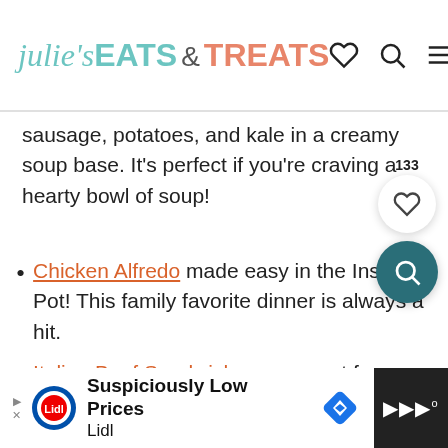julie's EATS & TREATS
sausage, potatoes, and kale in a creamy soup base. It’s perfect if you’re craving a hearty bowl of soup!
Chicken Alfredo made easy in the Instant Pot! This family favorite dinner is always a hit.
Italian Beef Sandwiches are great for weeknight dinners. The beef simmers all day in the crockpot, so when it’s dinner time, just assemble and serve!
[Figure (screenshot): Floating save button showing count 133 and heart icon, plus circular teal search button]
Suspiciously Low Prices Lidl — Advertisement banner